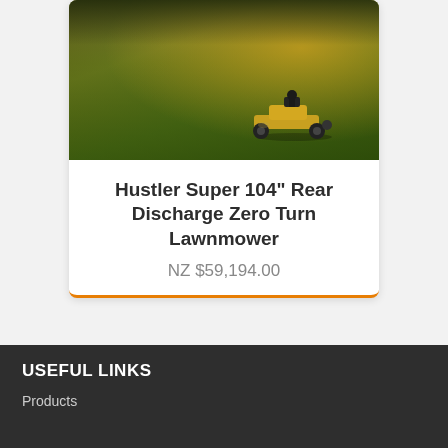[Figure (photo): Aerial/side view of a person riding a zero-turn lawnmower on a large green lawn at sunset, with trees silhouetted in the background and warm golden light]
Hustler Super 104" Rear Discharge Zero Turn Lawnmower
NZ $59,194.00
USEFUL LINKS
Products